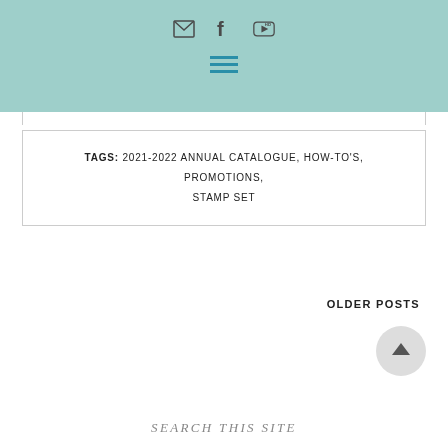Social icons (email, facebook, youtube) and hamburger menu
TAGS: 2021-2022 ANNUAL CATALOGUE, HOW-TO'S, PROMOTIONS, STAMP SET
OLDER POSTS
[Figure (other): Scroll-to-top button: circular grey button with upward arrow]
SEARCH THIS SITE